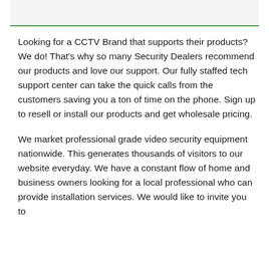Looking for a CCTV Brand that supports their products? We do! That's why so many Security Dealers recommend our products and love our support. Our fully staffed tech support center can take the quick calls from the customers saving you a ton of time on the phone. Sign up to resell or install our products and get wholesale pricing.
We market professional grade video security equipment nationwide. This generates thousands of visitors to our website everyday. We have a constant flow of home and business owners looking for a local professional who can provide installation services. We would like to invite you to...